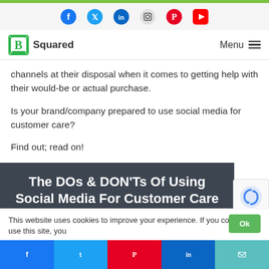B Squared — social icons header with Facebook, Twitter, LinkedIn, Instagram, Pinterest, YouTube
B Squared — Menu
channels at their disposal when it comes to getting help with their would-be or actual purchase.
Is your brand/company prepared to use social media for customer care?
Find out; read on!
[Figure (other): Dark banner with bold white text: The DOs & DON'Ts Of Using Social Media For Customer Care]
This website uses cookies to improve your experience. If you continue to use this site, you
Share buttons: Facebook, Twitter, Pinterest, LinkedIn, Email